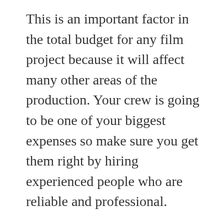This is an important factor in the total budget for any film project because it will affect many other areas of the production. Your crew is going to be one of your biggest expenses so make sure you get them right by hiring experienced people who are reliable and professional.
It's better to have less crew members that you know will deliver quality work than a ton of people who are struggling and not getting the job done! Here are some key crew positions: Director – The director has final say over pretty much everything on set including